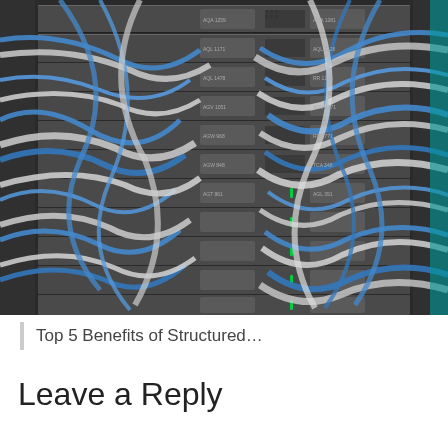[Figure (photo): A dense server rack filled with numerous 1U rack-mounted servers. Blue and white ethernet/fiber cables run in many directions between the units. The servers have green indicator lights and labeled modules. The image is taken from the front, showing the cable chaos typical of an unmanaged or high-density data center installation.]
Top 5 Benefits of Structured...
Leave a Reply